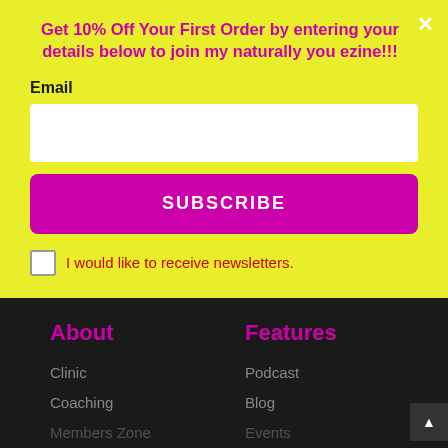Get 10% Off Your First Order by entering your details below to join my naturally you ezine!!!
Email
SUBSCRIBE
I would like to receive newsletters.
About
Features
Clinic
Coaching
Members Zone
Podcast
Blog
Events
SELECT OPTIONS